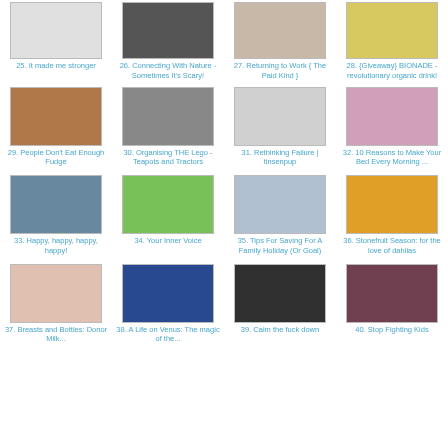[Figure (photo): Thumbnail image 25]
25. It made me stronger
[Figure (photo): Thumbnail image 26]
26. Connecting With Nature - Sometimes It's Scary!
[Figure (photo): Thumbnail image 27]
27. Returning to Work { The Paid Kind }
[Figure (photo): Thumbnail image 28]
28. {Giveaway} BIONADE - revolutionary organic drink!
[Figure (photo): Thumbnail image 29]
29. People Don't Eat Enough Fudge
[Figure (photo): Thumbnail image 30]
30. Organising THE Lego - Teapots and Tractors
[Figure (photo): Thumbnail image 31]
31. Rethinking Failure | tinsenpup
[Figure (photo): Thumbnail image 32]
32. 10 Reasons to Make Your Bed Every Morning ...
[Figure (photo): Thumbnail image 33]
33. Happy, happy, happy, happy!
[Figure (photo): Thumbnail image 34]
34. Your Inner Voice
[Figure (photo): Thumbnail image 35]
35. Tips For Saving For A Family Holiday (Or Goal)
[Figure (photo): Thumbnail image 36]
36. Stonefruit Season: for the love of dahlias
[Figure (photo): Thumbnail image 37]
37. Breasts and Bottles: Donor Milk...
[Figure (photo): Thumbnail image 38]
38. A Life on Venus: The magic of the...
[Figure (photo): Thumbnail image 39]
39. Calm the fuck down
[Figure (photo): Thumbnail image 40]
40. Stop Fighting Kids